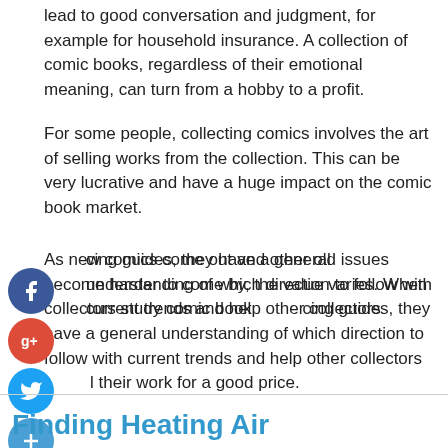lead to good conversation and judgment, for example for household insurance. A collection of comic books, regardless of their emotional meaning, can turn from a hobby to a profit.
For some people, collecting comics involves the art of selling works from the collection. This can be very lucrative and have a huge impact on the comic book market.
As new comics come out and other old issues become harder to come by, the value varies. When collectors study comic book pricing guides, they have a general understanding of which direction to follow with current trends and help other collectors sell their work for a good price.
[Figure (other): Social media sharing icons: Facebook, Google+, Twitter, and a plus/share button]
Finding Heating Air Conditioning